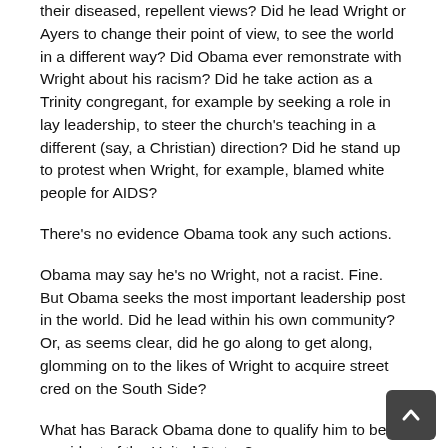their diseased, repellent views? Did he lead Wright or Ayers to change their point of view, to see the world in a different way? Did Obama ever remonstrate with Wright about his racism? Did he take action as a Trinity congregant, for example by seeking a role in lay leadership, to steer the church's teaching in a different (say, a Christian) direction? Did he stand up to protest when Wright, for example, blamed white people for AIDS?
There's no evidence Obama took any such actions.
Obama may say he's no Wright, not a racist. Fine. But Obama seeks the most important leadership post in the world. Did he lead within his own community? Or, as seems clear, did he go along to get along, glomming on to the likes of Wright to acquire street cred on the South Side?
What has Barack Obama done to qualify him to be president of the United States?